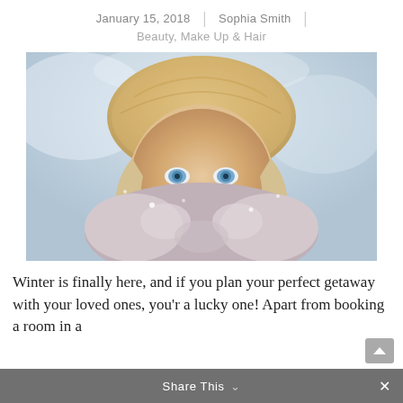January 15, 2018 | Sophia Smith |
Beauty, Make Up & Hair
[Figure (photo): Close-up portrait of a blonde woman with blue eyes wearing a fluffy beige fur hat and a fur coat in a snowy winter setting, covering the lower half of her face with the fur collar.]
Winter is finally here, and if you plan your perfect getaway with your loved ones, you'r a lucky one! Apart from booking a room in a